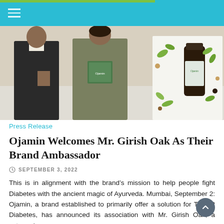[Figure (photo): Two people at an event: a man in a dark suit and a woman in an olive-green outfit holding a product box, with a branded Ojamin promotional poster visible in the background showing a dark bottle and botanical illustrations.]
Press Release
Ojamin Welcomes Mr. Girish Oak As Their Brand Ambassador
SEPTEMBER 3, 2022
This is in alignment with the brand’s mission to help people fight Diabetes with the ancient magic of Ayurveda. Mumbai, September 2: Ojamin, a brand established to primarily offer a solution for Type 2 Diabetes, has announced its association with Mr. Girish Oak, a veteran in